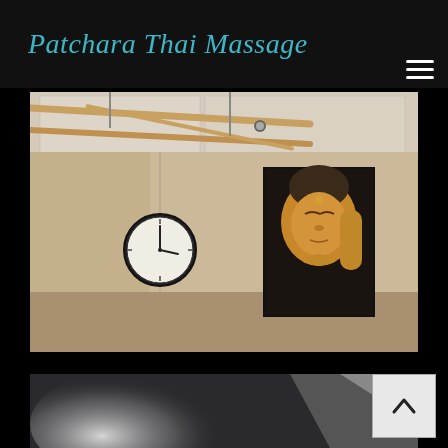Patchara Thai Massage
[Figure (photo): Interior room of a Thai massage studio with cream/beige walls, bamboo poles on the ceiling, a round analog clock on the left wall, and a large canvas painting of a Buddha face on the right wall]
[Figure (photo): Partial view of a second photo showing a dark background with soft light shapes, partially cut off at the bottom of the page]